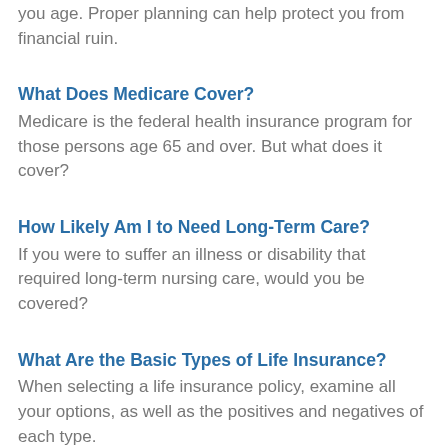you age. Proper planning can help protect you from financial ruin.
What Does Medicare Cover?
Medicare is the federal health insurance program for those persons age 65 and over. But what does it cover?
How Likely Am I to Need Long-Term Care?
If you were to suffer an illness or disability that required long-term nursing care, would you be covered?
What Are the Basic Types of Life Insurance?
When selecting a life insurance policy, examine all your options, as well as the positives and negatives of each type.